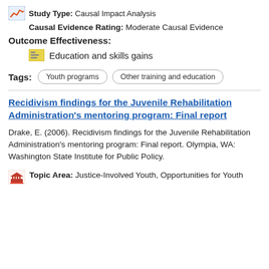Study Type: Causal Impact Analysis
Causal Evidence Rating: Moderate Causal Evidence
Outcome Effectiveness:
Education and skills gains
Tags: Youth programs | Other training and education
Recidivism findings for the Juvenile Rehabilitation Administration's mentoring program: Final report
Drake, E. (2006). Recidivism findings for the Juvenile Rehabilitation Administration's mentoring program: Final report. Olympia, WA: Washington State Institute for Public Policy.
Topic Area: Justice-Involved Youth, Opportunities for Youth